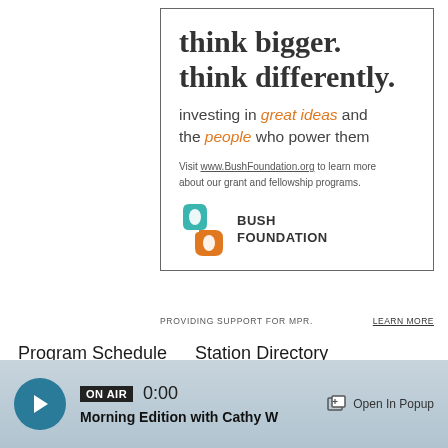[Figure (illustration): Bush Foundation advertisement box with headline 'think bigger. think differently.', tagline about investing in great ideas and people, website URL, and Bush Foundation logo]
PROVIDING SUPPORT FOR MPR.
LEARN MORE
Program Schedule    Station Directory
ON AIR  0:00  Morning Edition with Cathy W    Open In Popup